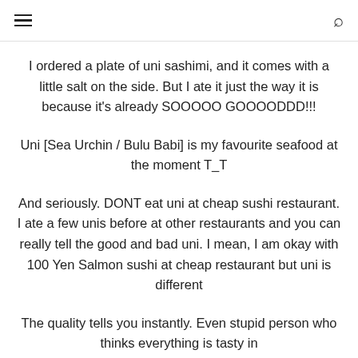☰  🔍
I ordered a plate of uni sashimi, and it comes with a little salt on the side. But I ate it just the way it is because it's already SOOOOO GOOOODDD!!!
Uni [Sea Urchin / Bulu Babi] is my favourite seafood at the moment T_T
And seriously. DONT eat uni at cheap sushi restaurant. I ate a few unis before at other restaurants and you can really tell the good and bad uni. I mean, I am okay with 100 Yen Salmon sushi at cheap restaurant but uni is different
The quality tells you instantly. Even stupid person who thinks everything is tasty in